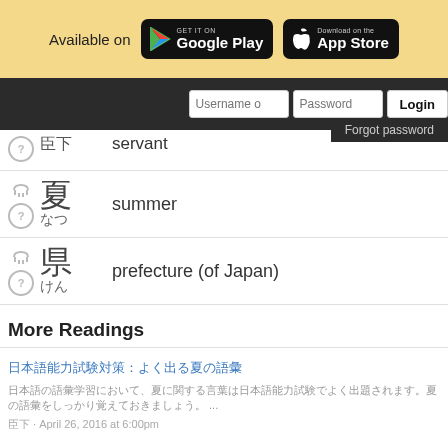[Figure (screenshot): App store banner with Google Play and App Store badges]
[Figure (screenshot): Navigation bar with Username, Password fields, Login button, and Forgot password dropdown]
servant [kanji] [kanji reading]
summer [kanji] [kanji reading]
prefecture (of Japan) [kanji] [kanji reading]
More Readings
[Japanese link title]
[Japanese excerpt] ... [author] · April 26, 2016 at 6:00pm